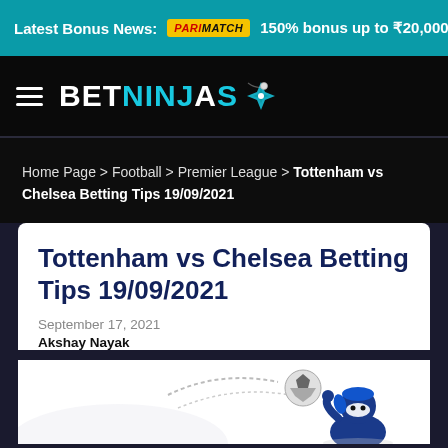Latest Bonus News: PARIMATCH 150% bonus up to ₹20,000 bet
[Figure (logo): BetNinjas logo with hamburger menu icon and ninja star]
Home Page > Football > Premier League > Tottenham vs Chelsea Betting Tips 19/09/2021
Tottenham vs Chelsea Betting Tips 19/09/2021
September 17, 2021
Akshay Nayak
[Figure (illustration): Cartoon ninja character with soccer ball illustration]